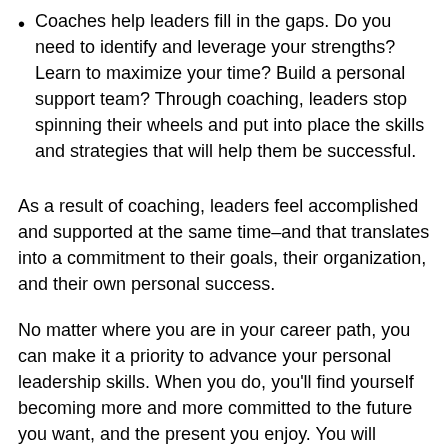Coaches help leaders fill in the gaps. Do you need to identify and leverage your strengths? Learn to maximize your time? Build a personal support team? Through coaching, leaders stop spinning their wheels and put into place the skills and strategies that will help them be successful.
As a result of coaching, leaders feel accomplished and supported at the same time–and that translates into a commitment to their goals, their organization, and their own personal success.
No matter where you are in your career path, you can make it a priority to advance your personal leadership skills. When you do, you'll find yourself becoming more and more committed to the future you want, and the present you enjoy. You will develop even more clarity bit by bit about what the